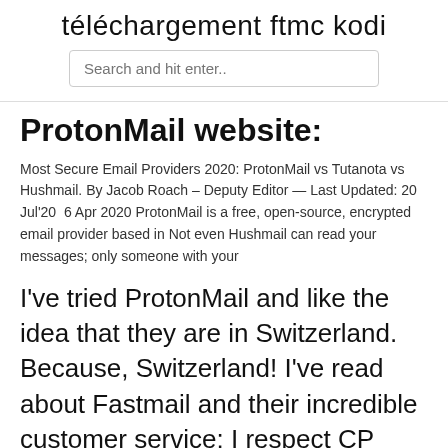téléchargement ftmc kodi
ProtonMail website:
Most Secure Email Providers 2020: ProtonMail vs Tutanota vs Hushmail. By Jacob Roach – Deputy Editor — Last Updated: 20 Jul'20  6 Apr 2020 ProtonMail is a free, open-source, encrypted email provider based in Not even Hushmail can read your messages; only someone with your
I've tried ProtonMail and like the idea that they are in Switzerland. Because, Switzerland! I've read about Fastmail and their incredible customer service: I respect CP Botha's opinion and insight. I just saw Hushmail, and that's all I know.